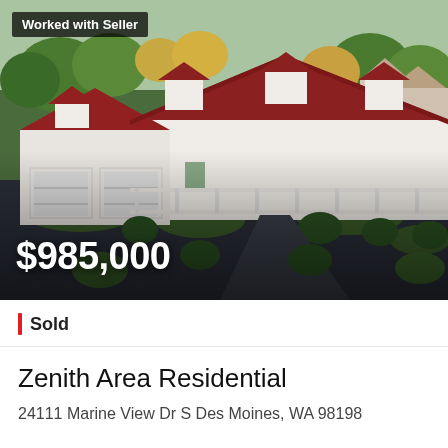[Figure (photo): Aerial drone photo of a large residential home with dark red/terracotta metal roof, white siding, covered porch, attached two-car garage, landscaped driveway, surrounded by trees in autumn foliage. 'Worked with Seller' badge in top-left. Price '$985,000' overlaid in bottom-left.]
Worked with Seller
$985,000
Sold
Zenith Area Residential
24111 Marine View Dr S Des Moines, WA 98198